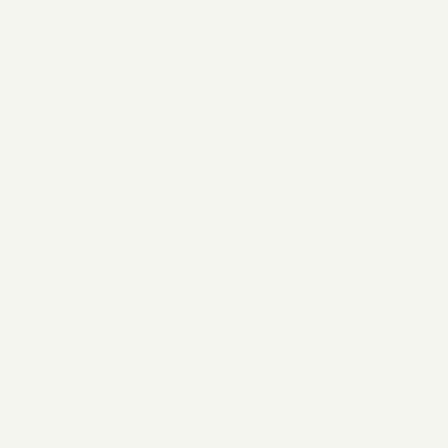| Topic | Author |
| --- | --- |
| Re: Ivy League Admissions. | JonLaw |
| Re: Ivy League Admissions. | madeinu |
| Re: Ivy League Admissions. | HowlerK |
| Re: Ivy League Admissions. | Elizabeth |
| Re: Ivy League Admissions. | Val |
| Re: Ivy League Admissions. | Bostonia |
| Re: Ivy League Admissions. | intparent |
| Re: Ivy League Admissions. | Bostonia |
| Re: Ivy League Admissions. | 22B |
| Re: Ivy League Admissions. | madeinu |